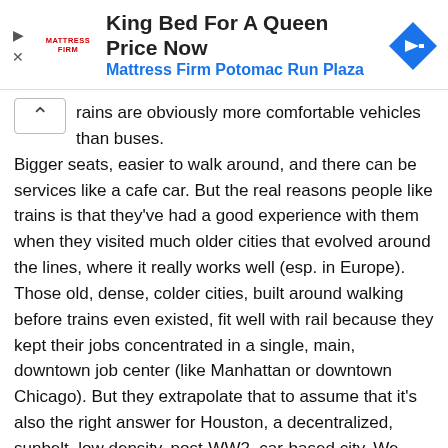[Figure (infographic): Advertisement banner for Mattress Firm. Shows Mattress Firm logo on left, headline 'King Bed For A Queen Price Now' in bold black, subtitle 'Mattress Firm Potomac Run Plaza' in blue, and a blue navigation arrow diamond icon on the right. Play and close control buttons on the far left.]
rains are obviously more comfortable vehicles than buses. Bigger seats, easier to walk around, and there can be services like a cafe car. But the real reasons people like trains is that they've had a good experience with them when they visited much older cities that evolved around the lines, where it really works well (esp. in Europe). Those old, dense, colder cities, built around walking before trains even existed, fit well with rail because they kept their jobs concentrated in a single, main, downtown job center (like Manhattan or downtown Chicago). But they extrapolate that to assume that it's also the right answer for Houston, a decentralized, sunbelt, low density, post-WW2, car-based city. We have less than 7% of our jobs downtown, and many different job centers (dt, uptown, TMC, Greenway, Greenspoint, Clear Lake, Energy Corridor, Westchase, etc.) We also have pedestrian-hostile climate 5 months of the year - and while you can wear coats for cold northern weather, there are no air-conditioned clothes we can wear down here. Our city wasn't